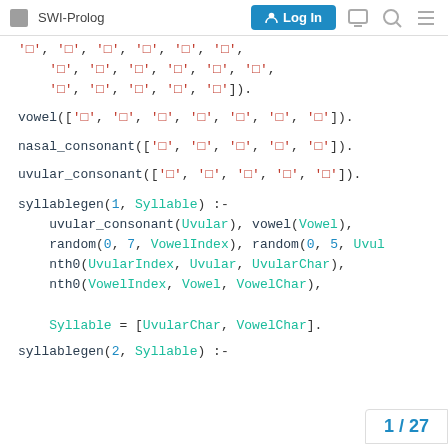SWI-Prolog | Log In
Code block showing Prolog predicates: continuation of character list, vowel/1, nasal_consonant/1, uvular_consonant/1, syllablegen/1 and syllablegen/2 definitions
1 / 27